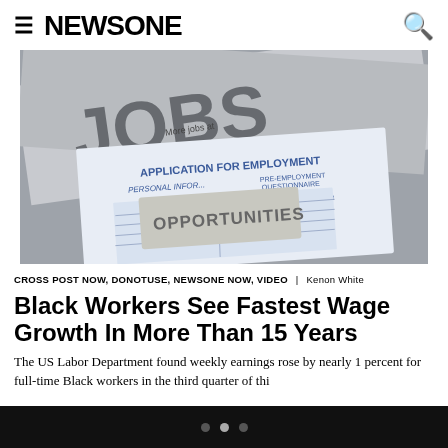NEWSONE
[Figure (photo): Newspaper pages with 'JOBS' headline text and an Application For Employment form with a stamp reading 'OPPORTUNITIES']
CROSS POST NOW, DONOTUSE, NEWSONE NOW, VIDEO | Kenon White
Black Workers See Fastest Wage Growth In More Than 15 Years
The US Labor Department found weekly earnings rose by nearly 1 percent for full-time Black workers in the third quarter of this